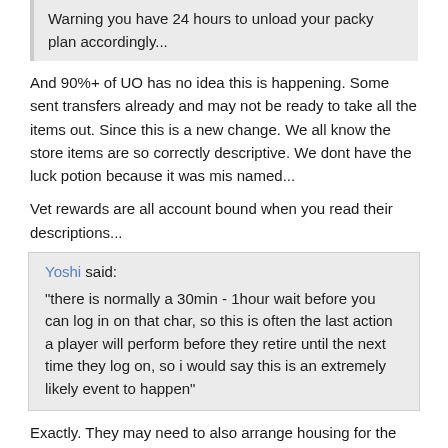Warning you have 24 hours to unload your packy plan accordingly...
And 90%+ of UO has no idea this is happening.  Some sent transfers already and may not be ready to take all the items out.  Since this is a new change.  We all know the store items are so correctly descriptive.  We dont have the luck potion because it was mis named...
Vet rewards are all account bound when you read their descriptions...
Yoshi said:
"there is normally a 30min - 1hour wait before you can log in on that char, so this is often the last action a player will perform before they retire until the next time they log on, so i would say this is an extremely likely event to happen"
Exactly.  They may need to also arrange housing for the items.
McDougle  Posts: 3,313
September 2021